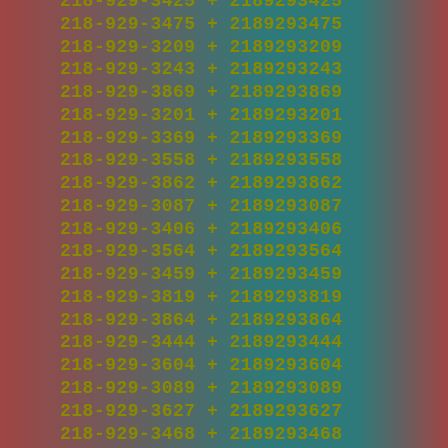218-929-3425 + 2189293425
218-929-3475 + 2189293475
218-929-3209 + 2189293209
218-929-3243 + 2189293243
218-929-3869 + 2189293869
218-929-3201 + 2189293201
218-929-3369 + 2189293369
218-929-3558 + 2189293558
218-929-3862 + 2189293862
218-929-3087 + 2189293087
218-929-3406 + 2189293406
218-929-3564 + 2189293564
218-929-3459 + 2189293459
218-929-3819 + 2189293819
218-929-3864 + 2189293864
218-929-3444 + 2189293444
218-929-3604 + 2189293604
218-929-3089 + 2189293089
218-929-3627 + 2189293627
218-929-3468 + 2189293468
218-929-3236 + 2189293236
218-929-3891 + 2189293891
218-929-3395 + 2189293395